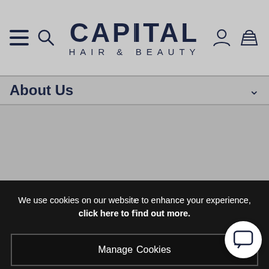Capital Hair & Beauty
About Us
We use cookies on our website to enhance your experience, click here to find out more.
Manage Cookies
Accept All
Contact Us
0330 094 0450
Monday to Friday 9am – 5pm
Follow Us